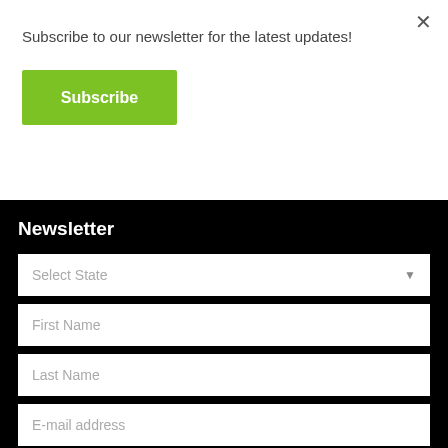Subscribe to our newsletter for the latest updates!
Subscribe
×
Newsletter
Select State
First Name
Last Name
E-mail address
Submit